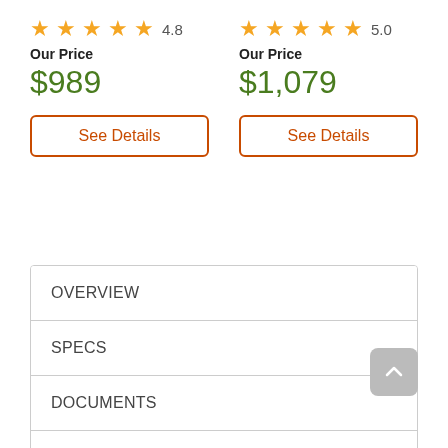★★★★★ 4.8
Our Price
$989
See Details
★★★★★ 5.0
Our Price
$1,079
See Details
OVERVIEW
SPECS
DOCUMENTS
REBATES
VIDEOS